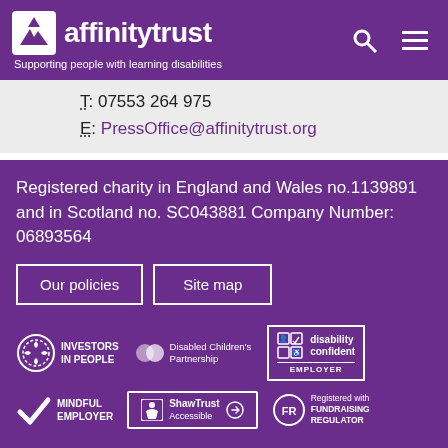affinitytrust — Supporting people with learning disabilities
T: 07553 264 975
E: PressOffice@affinitytrust.org
Registered charity in England and Wales no.1139891 and in Scotland no. SC043881 Company Number: 06893564
Our policies
Site map
[Figure (logo): Investors in People logo — circular laurel wreath with text INVESTORS IN PEOPLE]
[Figure (logo): Disabled Children's Partnership logo — two circles with text]
[Figure (logo): Disability Confident Employer badge — grid icon with text disability confident EMPLOYER]
[Figure (logo): Mindful Employer logo — checkmark with text MINDFUL EMPLOYER]
[Figure (logo): Shaw Trust Accessible logo — accessibility icon in box with arrow]
[Figure (logo): Fundraising Regulator logo — FR circle with text Registered with FUNDRAISING REGULATOR]